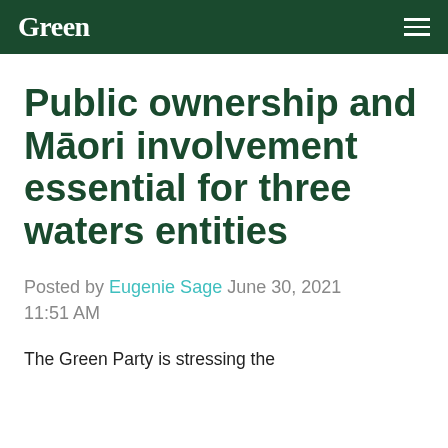Green
Public ownership and Māori involvement essential for three waters entities
Posted by Eugenie Sage June 30, 2021 11:51 AM
The Green Party is stressing the